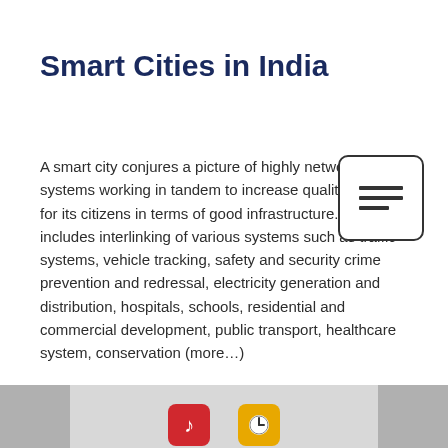Smart Cities in India
A smart city conjures a picture of highly networked systems working in tandem to increase quality of life for its citizens in terms of good infrastructure. It includes interlinking of various systems such as traffic systems, vehicle tracking, safety and security crime prevention and redressal, electricity generation and distribution, hospitals, schools, residential and commercial development, public transport, healthcare system, conservation (more…)
[Figure (other): Table of contents icon — a rectangle with rounded corners containing three horizontal lines of decreasing width, resembling a document list icon]
[Figure (other): Mobile device taskbar at bottom of screen showing a gray bar with app icons: a red music note icon and an orange/yellow clock icon]